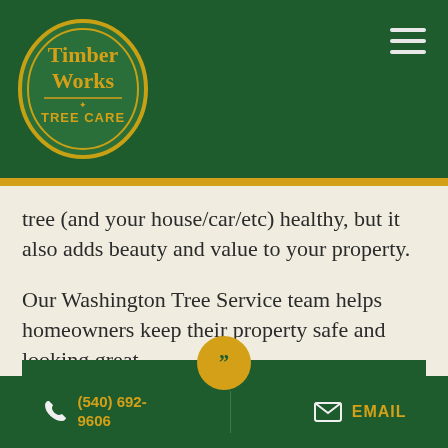[Figure (logo): Timber Works Tree Care logo — circular badge with dark green background and gold text reading 'Timber Works TREE CARE']
tree (and your house/car/etc) healthy, but it also adds beauty and value to your property.
Our Washington Tree Service team helps homeowners keep their property safe and looking great.
Excellent service, professional and respectful
(540) 692-9606   EMAIL